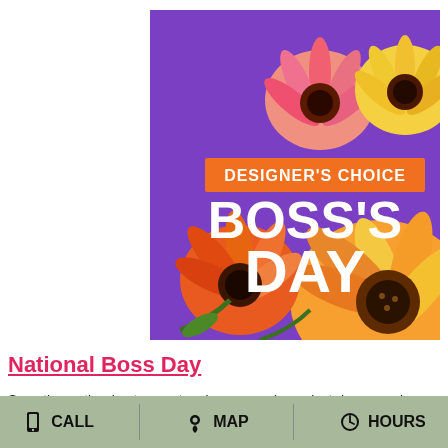[Figure (illustration): Designer's Choice Boss's Day flower arrangement advertisement with gerbera daisies in orange, pink, and yellow on a purple background. Text reads 'DESIGNER'S CHOICE' on an orange banner and 'BOSS'S DAY' in large white letters.]
National Boss Day
Sometimes the best way to show your boss just how much you appreciate their fine leadership is by sending flowers. With a National Boss Day gift of flowers from ANDERSON FLORIST, your boss will know
CALL   MAP   HOURS